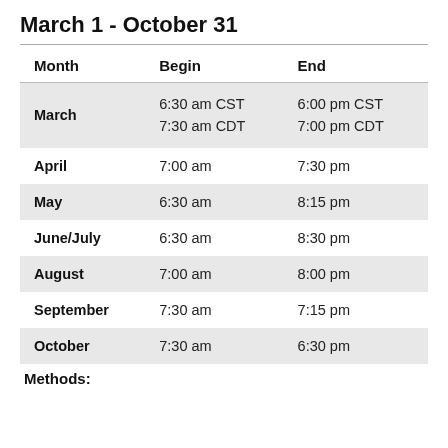March 1 - October 31
| Month | Begin | End |
| --- | --- | --- |
| March | 6:30 am CST
7:30 am CDT | 6:00 pm CST
7:00 pm CDT |
| April | 7:00 am | 7:30 pm |
| May | 6:30 am | 8:15 pm |
| June/July | 6:30 am | 8:30 pm |
| August | 7:00 am | 8:00 pm |
| September | 7:30 am | 7:15 pm |
| October | 7:30 am | 6:30 pm |
Methods: